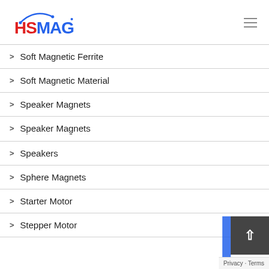[Figure (logo): HSMAG logo with red HS and blue MAG text with arc graphic]
Soft Magnetic Ferrite
Soft Magnetic Material
Speaker Magnets
Speaker Magnets
Speakers
Sphere Magnets
Starter Motor
Stepper Motor